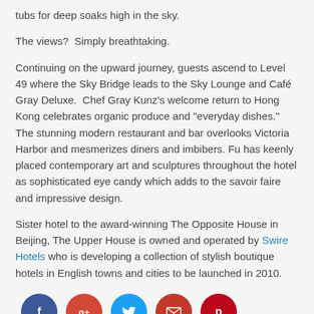tubs for deep soaks high in the sky.
The views?  Simply breathtaking.
Continuing on the upward journey, guests ascend to Level 49 where the Sky Bridge leads to the Sky Lounge and Café Gray Deluxe.  Chef Gray Kunz’s welcome return to Hong Kong celebrates organic produce and “everyday dishes.”  The stunning modern restaurant and bar overlooks Victoria Harbor and mesmerizes diners and imbibers. Fu has keenly placed contemporary art and sculptures throughout the hotel as sophisticated eye candy which adds to the savoir faire and impressive design.
Sister hotel to the award-winning The Opposite House in Beijing, The Upper House is owned and operated by Swire Hotels who is developing a collection of stylish boutique hotels in English towns and cities to be launched in 2010.
[Figure (infographic): Social media share buttons: Facebook (dark blue), Google+ (orange-red), Twitter (light blue), Email (dark red), Pinterest (red)]